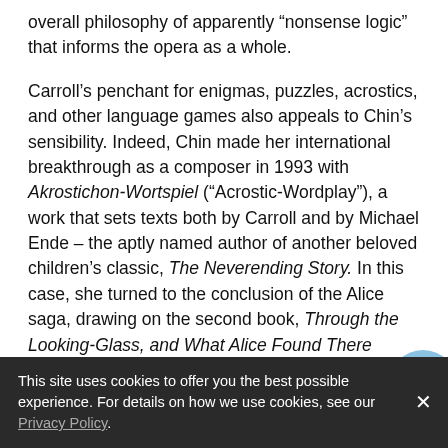overall philosophy of apparently “nonsense logic” that informs the opera as a whole.
Carroll’s penchant for enigmas, puzzles, acrostics, and other language games also appeals to Chin’s sensibility. Indeed, Chin made her international breakthrough as a composer in 1993 with Akrostichon-Wortspiel (“Acrostic-Wordplay”), a work that sets texts both by Carroll and by Michael Ende – the aptly named author of another beloved children’s classic, The Neverending Story. In this case, she turned to the conclusion of the Alice saga, drawing on the second book, Through the Looking-Glass, and What Alice Found There (published in 1871). snagS&Snarls actually begins at the end, so to speak, with the very final poem capping Through the Looking-Glass. The poem is an acrostic in which the first letter of each
number from snagS&Snarls that never found its way into
This site uses cookies to offer you the best possible experience. For details on how we use cookies, see our Privacy Policy.